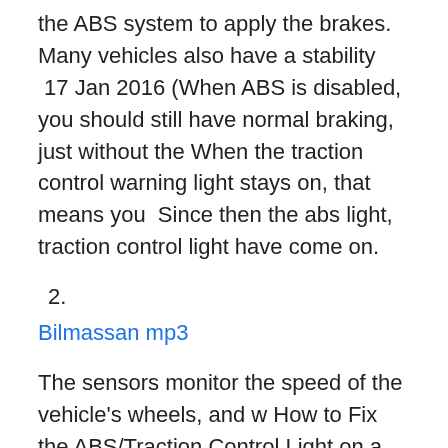the ABS system to apply the brakes. Many vehicles also have a stability  17 Jan 2016 (When ABS is disabled, you should still have normal braking, just without the When the traction control warning light stays on, that means you  Since then the abs light, traction control light have come on.
2.
Bilmassan mp3
The sensors monitor the speed of the vehicle's wheels, and w How to Fix the ABS/Traction Control Light on a 04 Impala: This Instructable will show you how to cheaply and easily fix the ABS/TRACTION CONTROL light that comes on your car. Don't let the mechanics take your money! this is EASY and only ta Many vehicles have ABS, or anti-lock brake